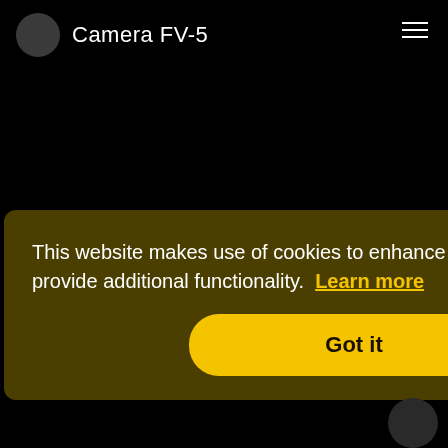Camera FV-5
[Figure (screenshot): Camera app interface showing two camera options: 1st (rear, 1.0×) and 2nd (front, 1.0×) with navigation dots at bottom]
This website makes use of cookies to enhance browsing experience and provide additional functionality.  Learn more
Got it